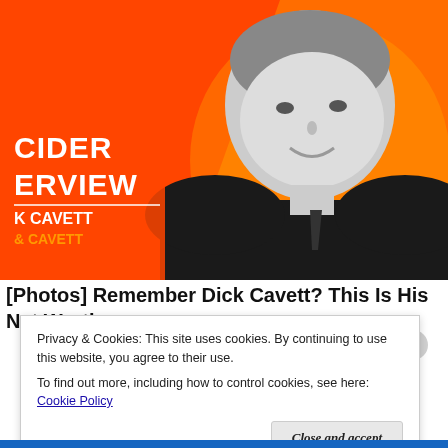[Figure (photo): Promotional image for 'The Insider Interview' featuring Dick Cavett. An elderly man smiling in black and white, placed against an orange background. Text overlay reads 'CIDER ERVIEW', 'K CAVETT', '& CAVETT'.]
[Photos] Remember Dick Cavett? This Is His Net Worth
Privacy & Cookies: This site uses cookies. By continuing to use this website, you agree to their use.
To find out more, including how to control cookies, see here: Cookie Policy
Close and accept